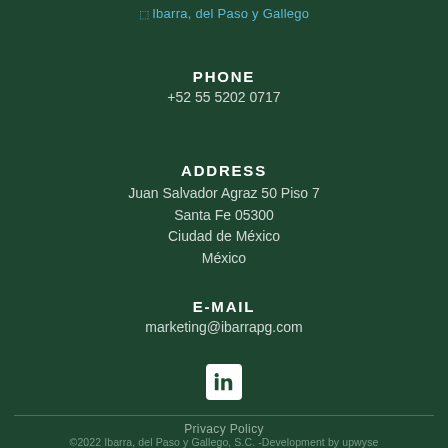[Figure (logo): Ibarra, del Paso y Gallego logo at top center]
PHONE
+52 55 5202 0717
ADDRESS
Juan Salvador Agraz 50 Piso 7
Santa Fe 05300
Ciudad de México
México
E-MAIL
marketing@ibarrapg.com
[Figure (logo): LinkedIn icon (white 'in' on white rounded square)]
Privacy Policy
©2022 Ibarra, del Paso y Gallego, S.C. -Development by upwyse